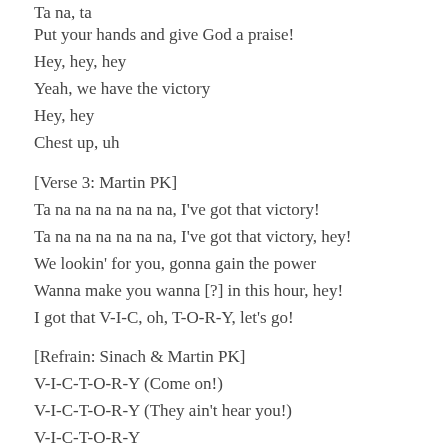Ta na, ta
Put your hands and give God a praise!
Hey, hey, hey
Yeah, we have the victory
Hey, hey
Chest up, uh
[Verse 3: Martin PK]
Ta na na na na na na, I've got that victory!
Ta na na na na na na, I've got that victory, hey!
We lookin' for you, gonna gain the power
Wanna make you wanna [?] in this hour, hey!
I got that V-I-C, oh, T-O-R-Y, let's go!
[Refrain: Sinach & Martin PK]
V-I-C-T-O-R-Y (Come on!)
V-I-C-T-O-R-Y (They ain't hear you!)
V-I-C-T-O-R-Y
V-I-C-T-O-R-Y (Can you join us everybody? Let's go